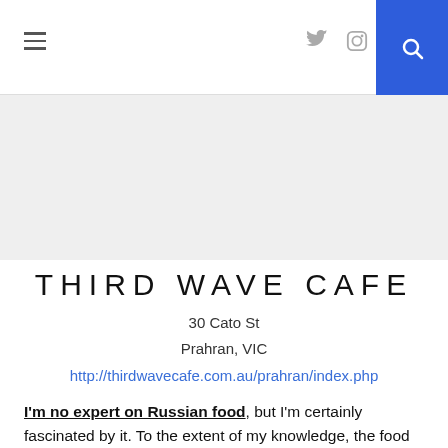Navigation bar with hamburger menu, Twitter and Instagram icons, search button
[Figure (other): Grey banner/hero image area]
THIRD WAVE CAFE
30 Cato St
Prahran, VIC
http://thirdwavecafe.com.au/prahran/index.php
I'm no expert on Russian food, but I'm certainly fascinated by it. To the extent of my knowledge, the food consists mostly of